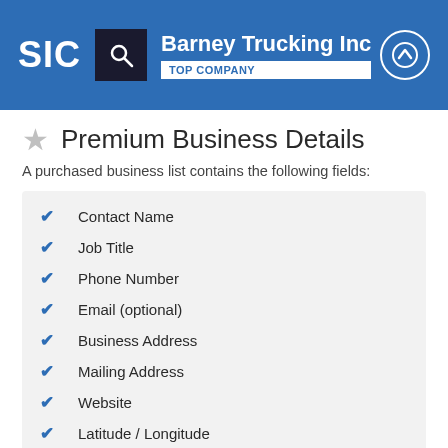SIC | Barney Trucking Inc | TOP COMPANY
Premium Business Details
A purchased business list contains the following fields:
Contact Name
Job Title
Phone Number
Email (optional)
Business Address
Mailing Address
Website
Latitude / Longitude
Modeled Credit Rating
Square Footage
Public / Private